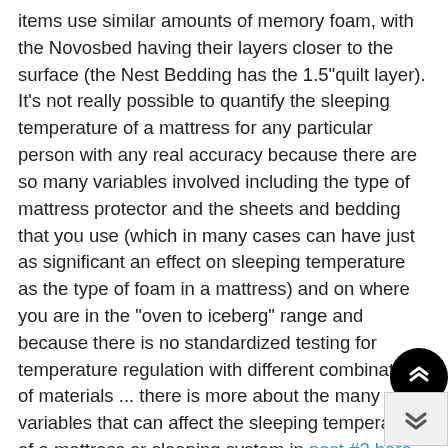items use similar amounts of memory foam, with the Novosbed having their layers closer to the surface (the Nest Bedding has the 1.5"quilt layer). It's not really possible to quantify the sleeping temperature of a mattress for any particular person with any real accuracy because there are so many variables involved including the type of mattress protector and the sheets and bedding that you use (which in many cases can have just as significant an effect on sleeping temperature as the type of foam in a mattress) and on where you are in the "oven to iceberg" range and because there is no standardized testing for temperature regulation with different combinations of materials ... there is more about the many variables that can affect the sleeping temperature of a mattress or sleeping system in post #2 here that can help you choose the types of materials and components that are most likely to keep you in a comfortable temperature range